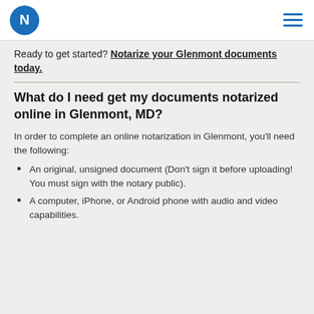Notarize logo and navigation menu
Ready to get started? Notarize your Glenmont documents today.
What do I need get my documents notarized online in Glenmont, MD?
In order to complete an online notarization in Glenmont, you'll need the following:
An original, unsigned document (Don't sign it before uploading! You must sign with the notary public).
A computer, iPhone, or Android phone with audio and video capabilities.